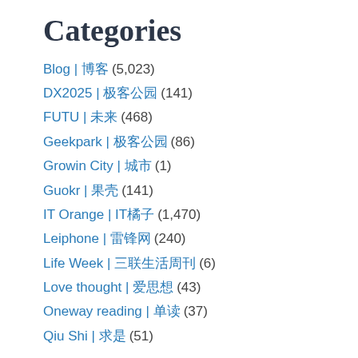Categories
Blog | 博客 (5,023)
DX2025 | 极客公园 (141)
FUTU | 未来 (468)
Geekpark | 极客公园 (86)
Growin City | 城市 (1)
Guokr | 果壳 (141)
IT Orange | IT橘子 (1,470)
Leiphone | 雷锋网 (240)
Life Week | 三联生活周刊 (6)
Love thought | 爱思想 (43)
Oneway reading | 单读 (37)
Qiu Shi | 求是 (51)